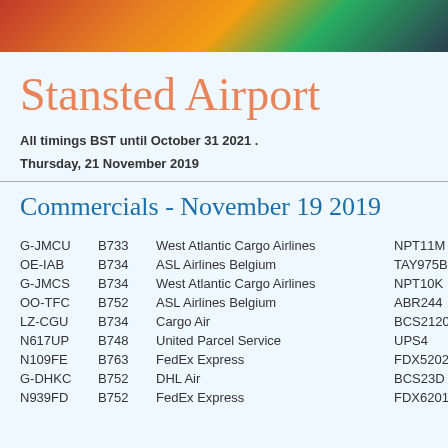[Figure (photo): Decorative photo banner at top of page, showing colorful autumn leaves or similar nature imagery in red, orange, green, and dark tones.]
Stansted Airport
All timings BST until October 31 2021 .
Thursday, 21 November 2019
Commercials - November 19 2019
| Registration | Aircraft | Airline | Flight |
| --- | --- | --- | --- |
| G-JMCU | B733 | West Atlantic Cargo Airlines | NPT11M |
| OE-IAB | B734 | ASL Airlines Belgium | TAY975B |
| G-JMCS | B734 | West Atlantic Cargo Airlines | NPT10K |
| OO-TFC | B752 | ASL Airlines Belgium | ABR244 |
| LZ-CGU | B734 | Cargo Air | BCS2120 |
| N617UP | B748 | United Parcel Service | UPS4 |
| N109FE | B763 | FedEx Express | FDX5202 |
| G-DHKC | B752 | DHL Air | BCS23D |
| N939FD | B752 | FedEx Express | FDX6201 |